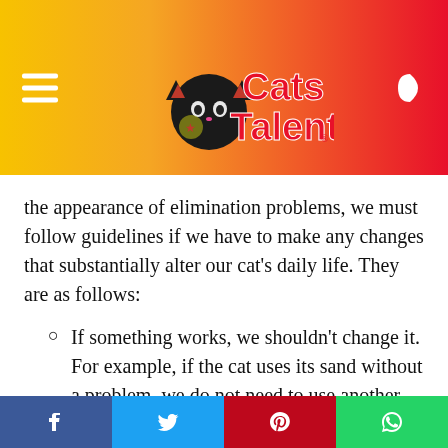Cats Talent
the appearance of elimination problems, we must follow guidelines if we have to make any changes that substantially alter our cat's daily life. They are as follows:
If something works, we shouldn't change it. For example, if the cat uses its sand without a problem, we do not need to use another one.
Any alteration should be introduced gradually so that the novel element
Facebook | Twitter | Pinterest | WhatsApp